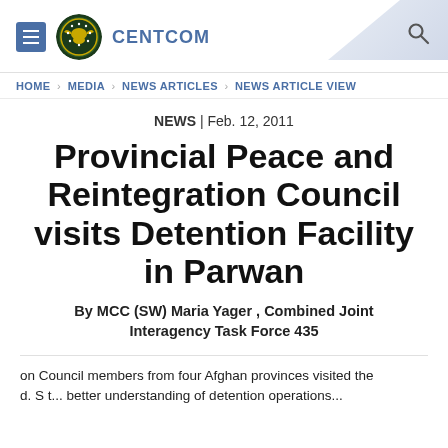CENTCOM
HOME > MEDIA > NEWS ARTICLES > NEWS ARTICLE VIEW
NEWS | Feb. 12, 2011
Provincial Peace and Reintegration Council visits Detention Facility in Parwan
By MCC (SW) Maria Yager , Combined Joint Interagency Task Force 435
on Council members from four Afghan provinces visited the d. S t... better understanding of detention operations...